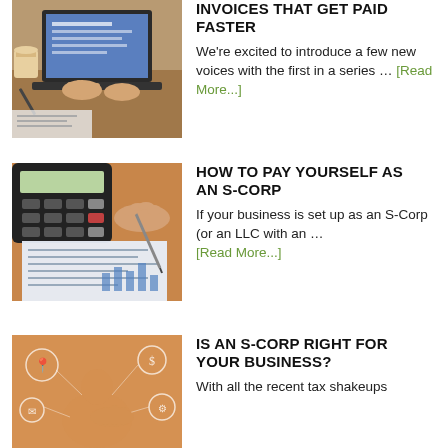[Figure (photo): Person working at laptop with papers and coffee on desk, financial work setting]
INVOICES THAT GET PAID FASTER
We're excited to introduce a few new voices with the first in a series … [Read More...]
[Figure (photo): Hand holding pen writing on financial document with calculator in background]
HOW TO PAY YOURSELF AS AN S-CORP
If your business is set up as an S-Corp (or an LLC with an … [Read More...]
[Figure (photo): Person touching digital icons/interface, business technology concept]
IS AN S-CORP RIGHT FOR YOUR BUSINESS?
With all the recent tax shakeups